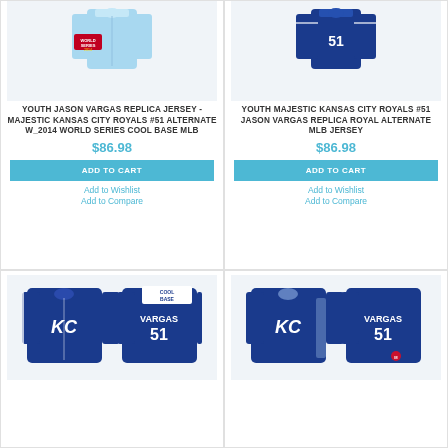[Figure (photo): Youth Jason Vargas light blue Kansas City Royals alternate jersey with 2014 World Series patch]
YOUTH JASON VARGAS REPLICA JERSEY - MAJESTIC KANSAS CITY ROYALS #51 ALTERNATE W_2014 WORLD SERIES COOL BASE MLB
$86.98
ADD TO CART
Add to Wishlist
Add to Compare
[Figure (photo): Youth Majestic Kansas City Royals #51 Jason Vargas royal blue alternate replica MLB jersey back view]
YOUTH MAJESTIC KANSAS CITY ROYALS #51 JASON VARGAS REPLICA ROYAL ALTERNATE MLB JERSEY
$86.98
ADD TO CART
Add to Wishlist
Add to Compare
[Figure (photo): Kansas City Royals Cool Base blue jersey with VARGAS 51 on back, Cool Base logo visible]
[Figure (photo): Kansas City Royals blue jersey front and back showing VARGAS 51, KC logo on front]